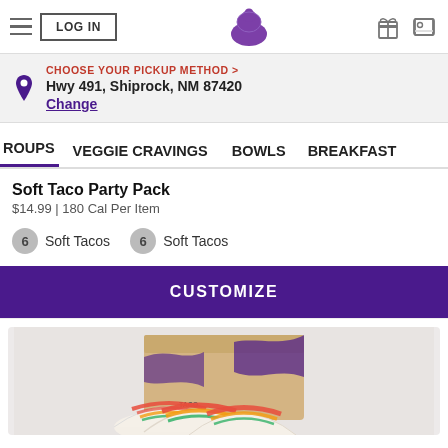LOG IN | Taco Bell | gift icon | card icon
CHOOSE YOUR PICKUP METHOD > Hwy 491, Shiprock, NM 87420 Change
ROUPS  VEGGIE CRAVINGS  BOWLS  BREAKFAST
Soft Taco Party Pack
$14.99 | 180 Cal Per Item
6 Soft Tacos  6 Soft Tacos
CUSTOMIZE
[Figure (photo): Taco Bell soft tacos displayed in front of a Taco Bell branded box, showing multiple soft tacos with toppings on a light background]